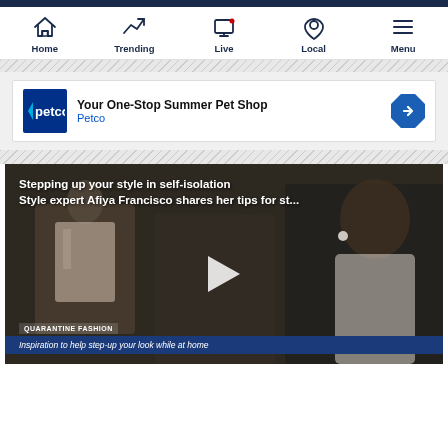Home | Trending | Live | Local | Menu
[Figure (screenshot): Petco advertisement banner: 'Your One-Stop Summer Pet Shop' with Petco logo and navigation arrow]
[Figure (screenshot): Video thumbnail showing style expert Afiya Francisco with text overlay 'Stepping up your style in self-isolation / Style expert Afiya Francisco shares her tips for st...' and ticker 'QUARANTINE FASHION: Inspiration to help step-up your look while at home']